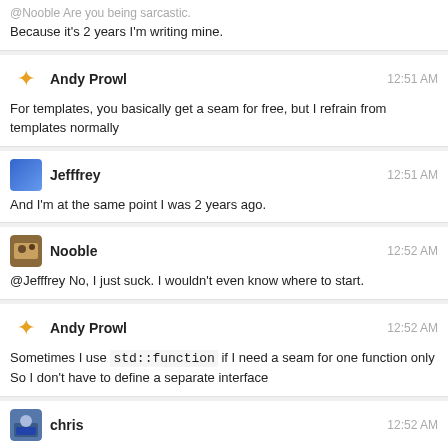@Nooble Are you being sarcastic?
Because it's 2 years I'm writing mine.
Andy Prowl 12:51 AM
For templates, you basically get a seam for free, but I refrain from templates normally
Jefffrey 12:51 AM
And I'm at the same point I was 2 years ago.
Nooble 12:52 AM
@Jefffrey No, I just suck. I wouldn't even know where to start.
Andy Prowl 12:52 AM
Sometimes I use std::function if I need a seam for one function only
So I don't have to define a separate interface
chris 12:52 AM
I see. ABC interfaces just seem a lot less elegant in C++ :/
Andy Prowl 12:52 AM
Sometimes instead of constructor injection I pass the collaborator as an argument to the function
@chris Yeah
@Jefffrey Does it have special features?
chris 12:53 AM
And of course the equivalent DI containers are much crappier
Like you need to give the signature.